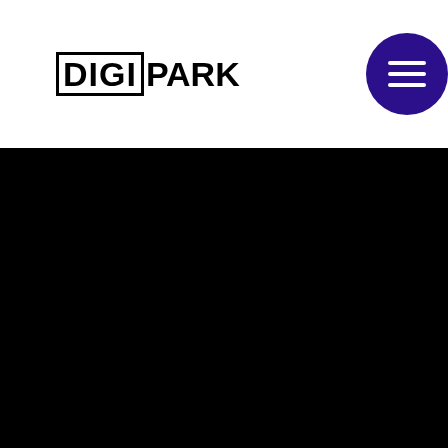DIGIPARK
[Figure (other): Dark/black background section filling the lower portion of the page]